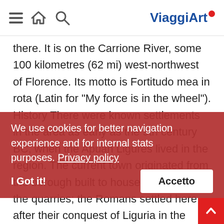ViaggiArt — navigation bar with hamburger, home, search icons
there. It is on the Carrione River, some 100 kilometres (62 mi) west-northwest of Florence. Its motto is Fortitudo mea in rota (Latin for "My force is in the wheel"). History There were known settlements in the area as early as the 9th century BC, when the Apuan Ligures lived in the region. The current town originated from the borough built to house workers in the quarries; the Romans settled here after their conquest of Liguria in the early 2nd century BC. Carrara has been linked with the process of quarrying and carving marble since the Roman Age. Marble was exported from
We use cookies for better navigation experience and for internal stats purposes. Privacy policy
I Got it!   Accetto